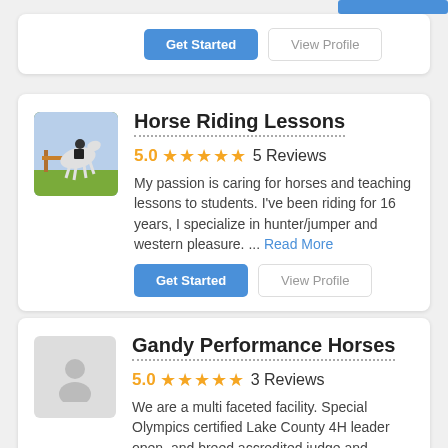Get Started | View Profile (top card partial buttons)
Horse Riding Lessons
5.0 ★★★★★ 5 Reviews
My passion is caring for horses and teaching lessons to students. I've been riding for 16 years, I specialize in hunter/jumper and western pleasure. ... Read More
Get Started | View Profile
Gandy Performance Horses
5.0 ★★★★★ 3 Reviews
We are a multi faceted facility. Special Olympics certified  Lake County 4H leader open, and breed  accredited judge and